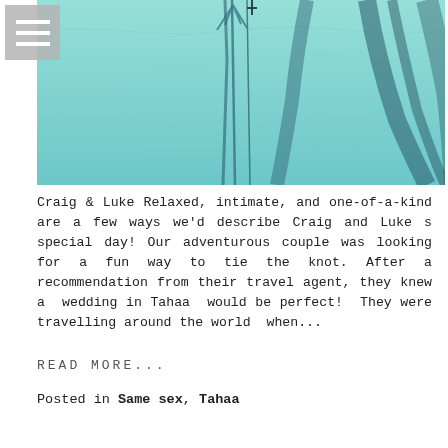[Figure (photo): Aerial view of turquoise water with dark shadows of palm trees cast on a sandy/water surface. Shadows of several tall palm trees are visible from above against a bright aqua-blue background.]
Craig & Luke Relaxed, intimate, and one-of-a-kind are a few ways we'd describe Craig and Luke s special day! Our adventurous couple was looking for a fun way to tie the knot. After a recommendation from their travel agent, they knew a wedding in Tahaa would be perfect! They were travelling around the world when...
READ MORE...
Posted in Same sex, Tahaa